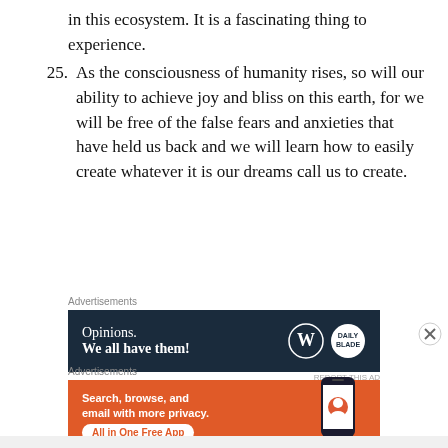in this ecosystem. It is a fascinating thing to experience.
25. As the consciousness of humanity rises, so will our ability to achieve joy and bliss on this earth, for we will be free of the false fears and anxieties that have held us back and we will learn how to easily create whatever it is our dreams call us to create.
[Figure (infographic): Advertisement banner with dark navy background. Text reads 'Opinions. We all have them!' with WordPress and Daily logos on the right.]
[Figure (infographic): Advertisement banner with orange background for DuckDuckGo. Text reads 'Search, browse, and email with more privacy. All in One Free App' with a phone image and DuckDuckGo logo.]